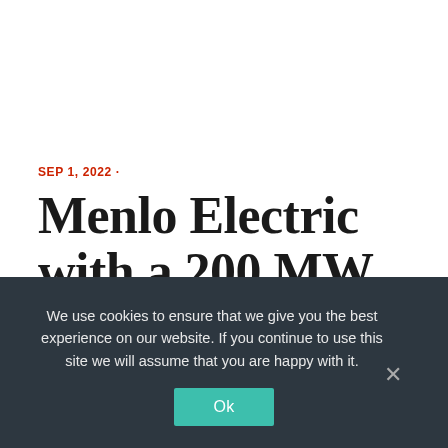SEP 1, 2022 ·
Menlo Electric with a 200 MW distribution deal with Jinko Solar
We use cookies to ensure that we give you the best experience on our website. If you continue to use this site we will assume that you are happy with it.